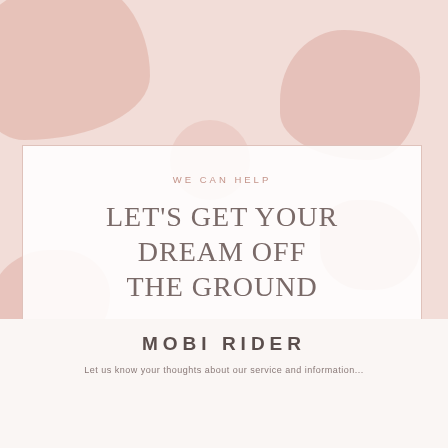[Figure (photo): Pink floral/petal background photo area behind the card overlay]
WE CAN HELP
LET'S GET YOUR DREAM OFF THE GROUND
CONTACT US
MOBI RIDER
Let us know your thoughts about our service and information...